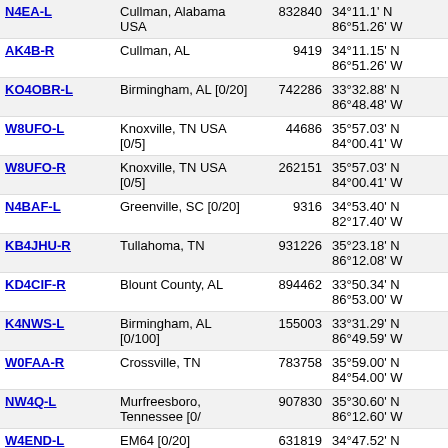| Callsign | Location | Num | Coordinates | Grid | Freq | Extra |
| --- | --- | --- | --- | --- | --- | --- |
| N4EA-L | Cullman, Alabama USA | 832840 | 34°11.1' N 86°51.26' W | EM64ne | 138.0 | 146 |
| AK4B-R | Cullman, AL | 9419 | 34°11.15' N 86°51.26' W | EM64ne | 138.0 | 146 |
| KO4OBR-L | Birmingham, AL [0/20] | 742286 | 33°32.88' N 86°48.48' W | EM63on | 138.4 |  |
| W8UFO-L | Knoxville, TN USA [0/5] | 44686 | 35°57.03' N 84°00.41' W | EM75xw | 138.7 | 223 |
| W8UFO-R | Knoxville, TN USA [0/5] | 262151 | 35°57.03' N 84°00.41' W | EM75xw | 138.7 |  |
| N4BAF-L | Greenville, SC [0/20] | 9316 | 34°53.40' N 82°17.40' W | EM84uv | 138.8 |  |
| KB4JHU-R | Tullahoma, TN | 931226 | 35°23.18' N 86°12.08' W | EM65vj | 138.9 | 146 |
| KD4CIF-R | Blount County, AL | 894462 | 33°50.34' N 86°53.00' W | EM63nu | 139.5 | 147 |
| K4NWS-L | Birmingham, AL [0/100] | 155003 | 33°31.29' N 86°49.59' W | EM63om | 139.8 |  |
| W0FAA-R | Crossville, TN | 783758 | 35°59.00' N 84°54.00' W | EM75nx | 140.9 | 146 |
| NW4Q-L | Murfreesboro, Tennessee [0/ | 907830 | 35°30.60' N 86°12.60' W | EM65vm | 145.3 |  |
| W4END-L | EM64 [0/20] | 631819 | 34°47.52' N 86°49.92' W | EM64ot | 146.7 |  |